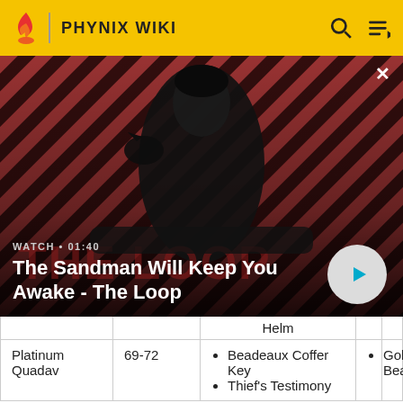PHYNIX WIKI
[Figure (screenshot): Video banner showing a dark-cloaked figure with a raven on shoulder against red diagonal stripe background. Text reads WATCH • 01:40, The Sandman Will Keep You Awake - The Loop. Play button visible bottom right.]
|  |  | Helm |  |  |
| Platinum Quadav | 69-72 | Beadeaux Coffer Key
Thief's Testimony
... | Gold Beastcoin |  |